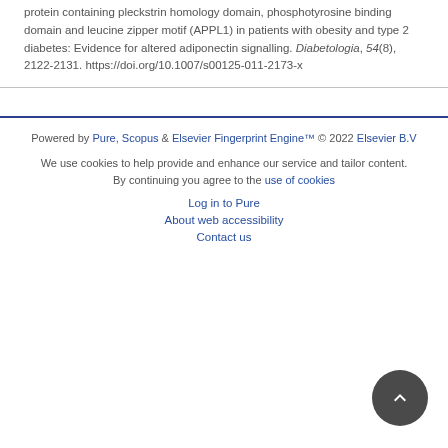protein containing pleckstrin homology domain, phosphotyrosine binding domain and leucine zipper motif (APPL1) in patients with obesity and type 2 diabetes: Evidence for altered adiponectin signalling. Diabetologia, 54(8), 2122-2131. https://doi.org/10.1007/s00125-011-2173-x
Powered by Pure, Scopus & Elsevier Fingerprint Engine™ © 2022 Elsevier B.V

We use cookies to help provide and enhance our service and tailor content. By continuing you agree to the use of cookies

Log in to Pure

About web accessibility

Contact us